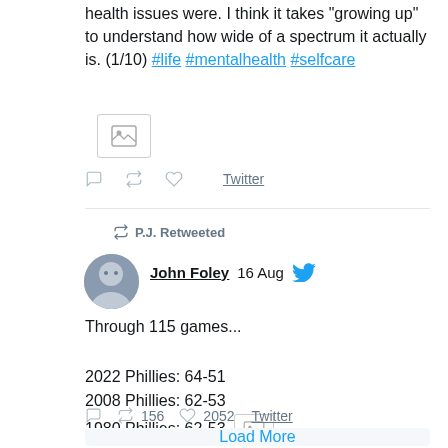health issues were. I think it takes "growing up" to understand how wide of a spectrum it actually is. (1/10) #life #mentalhealth #selfcare
[Figure (photo): Image placeholder thumbnail in tweet]
Twitter [action icons]
P.J. Retweeted
[Figure (photo): Profile photo of John Foley]
John Foley  16 Aug
Through 115 games...

2022 Phillies: 64-51
2008 Phillies: 62-53
1980 Phillies: 62-53
[Figure (photo): Image placeholder thumbnail in tweet]
156  2052  Twitter
Load More